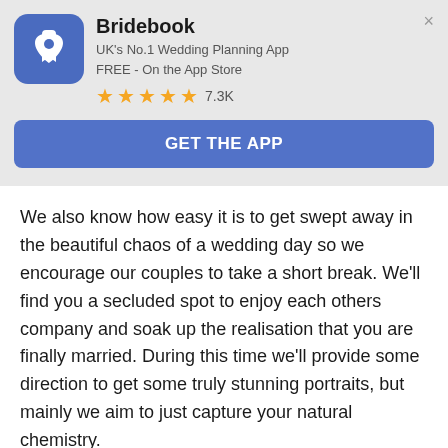[Figure (other): Bridebook app banner with logo icon (blue rounded square with white heart/bookmark icon), app name, subtitle, star rating, and GET THE APP button]
We also know how easy it is to get swept away in the beautiful chaos of a wedding day so we encourage our couples to take a short break. We'll find you a secluded spot to enjoy each others company and soak up the realisation that you are finally married. During this time we'll provide some direction to get some truly stunning portraits, but mainly we aim to just capture your natural chemistry.
Our aim is to provide you with the very best memories of your momentous day possible.